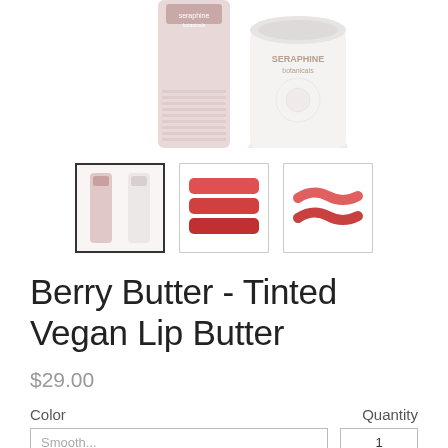[Figure (photo): Two Seraphine Botanicals lip butter product tubes/jars shown from above, partially cropped at top]
[Figure (photo): Three thumbnail images: first selected showing two lip butter tubes, second showing color swatches on fingers (reds/pinks), third showing lip gloss swatches]
Berry Butter - Tinted Vegan Lip Butter
$29.00
Color
Quantity